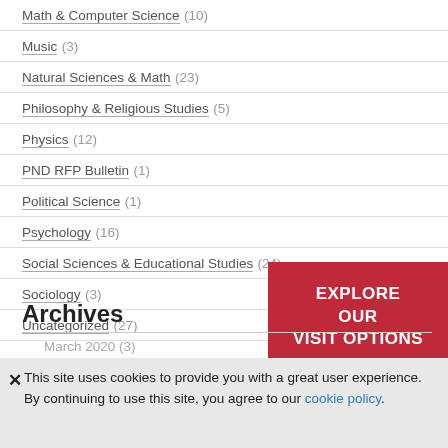Math & Computer Science (10)
Music (3)
Natural Sciences & Math (23)
Philosophy & Religious Studies (5)
Physics (12)
PND RFP Bulletin (1)
Political Science (1)
Psychology (16)
Social Sciences & Educational Studies (24)
Sociology (3)
Uncategorized (27)
[Figure (other): Red button: EXPLORE OUR VISIT OPTIONS]
Archives
March 2020 (3)
This site uses cookies to provide you with a great user experience. By continuing to use this site, you agree to our cookie policy.